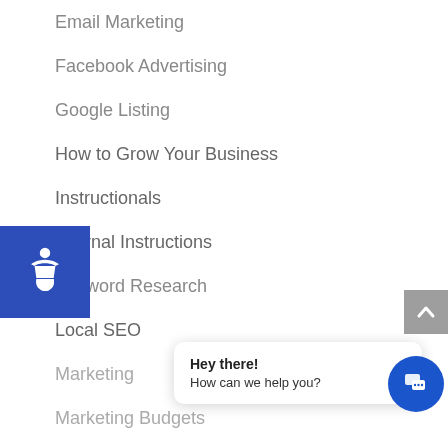Email Marketing
Facebook Advertising
Google Listing
How to Grow Your Business
Instructionals
Internal Instructions
Keyword Research
Local SEO
Marketing
Marketing Budgets
Negative SEO
News
PPC
Press Release